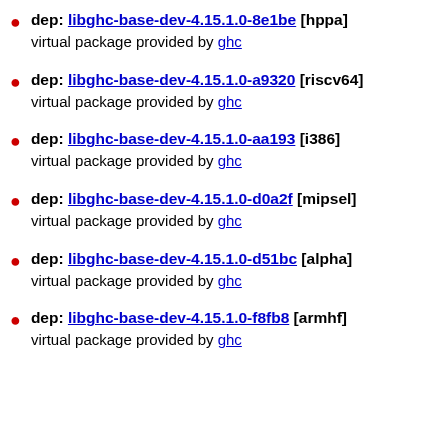dep: libghc-base-dev-4.15.1.0-8e1be [hppa]
virtual package provided by ghc
dep: libghc-base-dev-4.15.1.0-a9320 [riscv64]
virtual package provided by ghc
dep: libghc-base-dev-4.15.1.0-aa193 [i386]
virtual package provided by ghc
dep: libghc-base-dev-4.15.1.0-d0a2f [mipsel]
virtual package provided by ghc
dep: libghc-base-dev-4.15.1.0-d51bc [alpha]
virtual package provided by ghc
dep: libghc-base-dev-4.15.1.0-f8fb8 [armhf]
virtual package provided by ghc